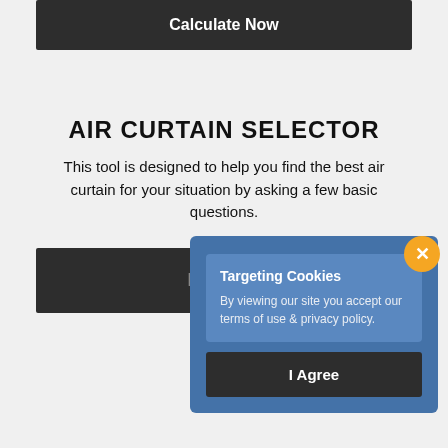Calculate Now
AIR CURTAIN SELECTOR
This tool is designed to help you find the best air curtain for your situation by asking a few basic questions.
Begin...
Targeting Cookies
By viewing our site you accept our terms of use & privacy policy.
I Agree